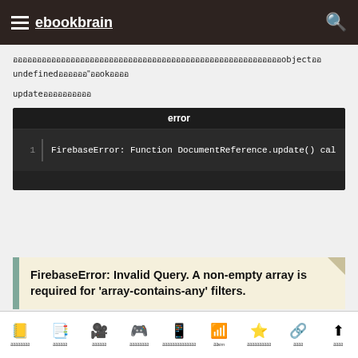ebookbrain
ออบเจ็กต์ที่ส่งมาในฟังก์ชัน update() ต้องไม่มีค่าเป็น object หรือ undefined หรือ"" หรือ ok หรือ
update ที่มีข้อผิดพลาด
[Figure (screenshot): Error code block showing: error header, line 1: FirebaseError: Function DocumentReference.update() cal]
[Figure (screenshot): Quote block with teal accent: FirebaseError: Invalid Query. A non-empty array is required for 'array-contains-any' filters.]
Navigation icons: book, note, video, gamepad, android, wifi/sim, star, share, up